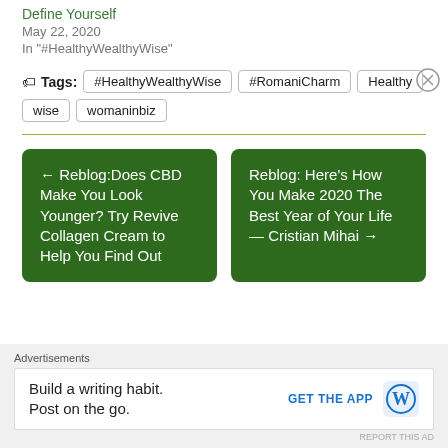Define Yourself
May 22, 2020
In "#HealthyWealthyWise"
Tags: #HealthyWealthyWise #RomaniCharm Healthy wise womaninbiz
← Reblog:Does CBD Make You Look Younger? Try Revive Collagen Cream to Help You Find Out
Reblog: Here's How You Make 2020 The Best Year of Your Life — Cristian Mihai →
Advertisements
Build a writing habit. Post on the go.
GET THE APP